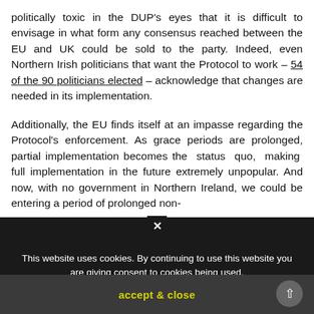politically toxic in the DUP's eyes that it is difficult to envisage in what form any consensus reached between the EU and UK could be sold to the party. Indeed, even Northern Irish politicians that want the Protocol to work – 54 of the 90 politicians elected – acknowledge that changes are needed in its implementation.
Additionally, the EU finds itself at an impasse regarding the Protocol's enforcement. As grace periods are prolonged, partial implementation becomes the status quo, making full implementation in the future extremely unpopular. And now, with no government in Northern Ireland, we could be entering a period of prolonged non-
This website uses cookies. By continuing to use this website you are giving consent to cookies being used.
accept & close